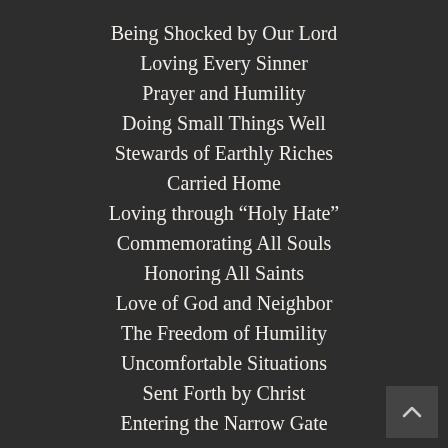Being Shocked by Our Lord
Loving Every Sinner
Prayer and Humility
Doing Small Things Well
Stewards of Earthly Riches
Carried Home
Loving through “Holy Hate”
Commemorating All Souls
Honoring All Saints
Love of God and Neighbor
The Freedom of Humility
Uncomfortable Situations
Sent Forth by Christ
Entering the Narrow Gate